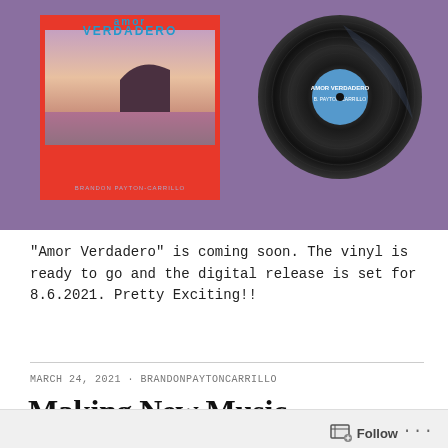[Figure (photo): Photo of an album cover for 'Amor Verdadero' by Brandon Payton-Carrillo (red cover with sunset/ocean scene) and a vinyl record, both resting on a purple fabric surface.]
“Amor Verdadero” is coming soon. The vinyl is ready to go and the digital release is set for 8.6.2021. Pretty Exciting!!
MARCH 24, 2021 · BRANDONPAYTONCARRILLO
Making New Music